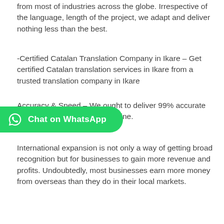from most of industries across the globe. Irrespective of the language, length of the project, we adapt and deliver nothing less than the best.
-Certified Catalan Translation Company in Ikare – Get certified Catalan translation services in Ikare from a trusted translation company in Ikare
Accuracy & Speed – We ought to deliver 99% accurate [content partially obscured by WhatsApp button] eadline.
[Figure (other): Green Chat on WhatsApp button with WhatsApp logo icon]
International expansion is not only a way of getting broad recognition but for businesses to gain more revenue and profits. Undoubtedly, most businesses earn more money from overseas than they do in their local markets.